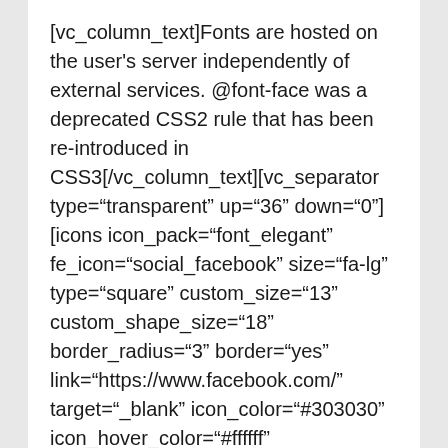[vc_column_text]Fonts are hosted on the user's server independently of external services. @font-face was a deprecated CSS2 rule that has been re-introduced in CSS3[/vc_column_text][vc_separator type="transparent" up="36" down="0"][icons icon_pack="font_elegant" fe_icon="social_facebook" size="fa-lg" type="square" custom_size="13" custom_shape_size="18" border_radius="3" border="yes" link="https://www.facebook.com/" target="_blank" icon_color="#303030" icon_hover_color="#ffffff" border_color="#303030" border_width="2" background_color="#ffffff" hover_background_color="#303030"